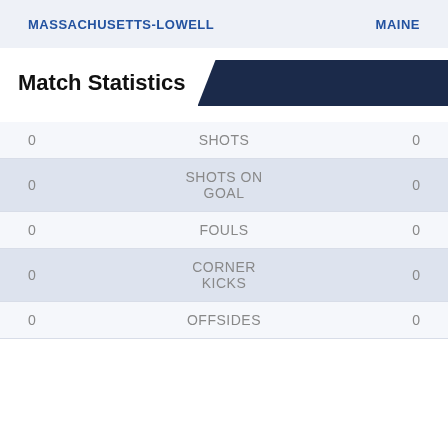MASSACHUSETTS-LOWELL    MAINE
Match Statistics
| Team1 | Stat | Team2 |
| --- | --- | --- |
| 0 | SHOTS | 0 |
| 0 | SHOTS ON GOAL | 0 |
| 0 | FOULS | 0 |
| 0 | CORNER KICKS | 0 |
| 0 | OFFSIDES | 0 |